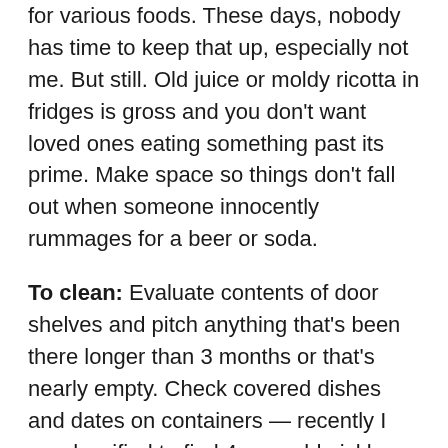for various foods. These days, nobody has time to keep that up, especially not me. But still. Old juice or moldy ricotta in fridges is gross and you don't want loved ones eating something past its prime. Make space so things don't fall out when someone innocently rummages for a beer or soda.
To clean: Evaluate contents of door shelves and pitch anything that's been there longer than 3 months or that's nearly empty. Check covered dishes and dates on containers — recently I was horrified to find 4 year old pickles. Consult manufacturer's care guide on water temperature before cleaning glass refrigerator shelves. Again, I empty everything  onto an old bath towel to absorb moisture. Wipe shelves, sides and doors. If I find any sticky jars or lids, I let the hot water run for a while then give them a quick rinse.